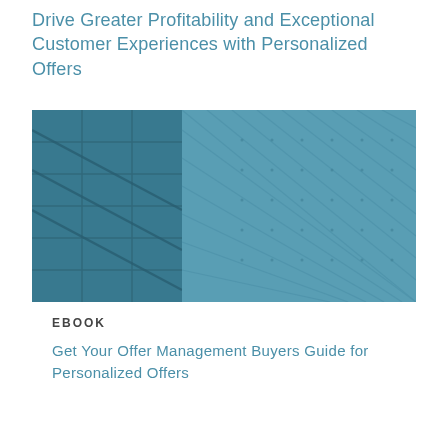Drive Greater Profitability and Exceptional Customer Experiences with Personalized Offers
[Figure (photo): Architectural photograph of a modern glass building facade with a blue-teal tint, showing geometric grid patterns of glass panels and structural lines.]
EBOOK
Get Your Offer Management Buyers Guide for Personalized Offers